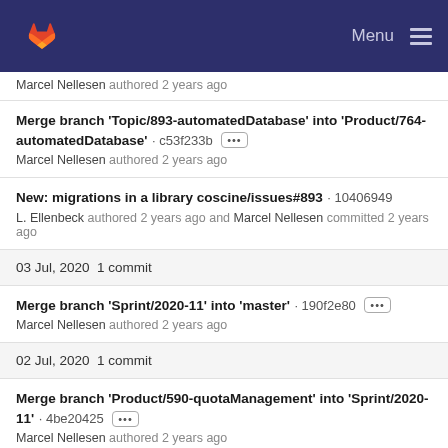Menu
Marcel Nellesen authored 2 years ago
Merge branch 'Topic/893-automatedDatabase' into 'Product/764-automatedDatabase' · c53f233b ···
Marcel Nellesen authored 2 years ago
New: migrations in a library coscine/issues#893 · 10406949
L. Ellenbeck authored 2 years ago and Marcel Nellesen committed 2 years ago
03 Jul, 2020 1 commit
Merge branch 'Sprint/2020-11' into 'master' · 190f2e80 ···
Marcel Nellesen authored 2 years ago
02 Jul, 2020 1 commit
Merge branch 'Product/590-quotaManagement' into 'Sprint/2020-11' · 4be20425 ···
Marcel Nellesen authored 2 years ago